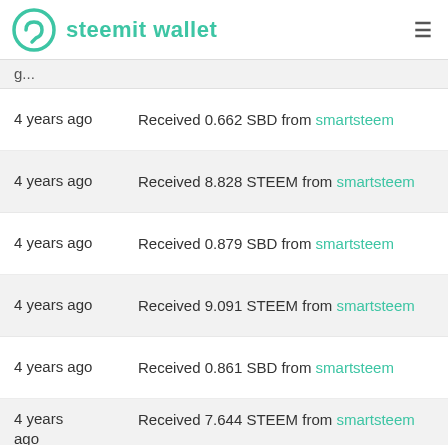steemit wallet
4 years ago — Received 0.662 SBD from smartsteem
4 years ago — Received 8.828 STEEM from smartsteem
4 years ago — Received 0.879 SBD from smartsteem
4 years ago — Received 9.091 STEEM from smartsteem
4 years ago — Received 0.861 SBD from smartsteem
4 years ago — Received 7.644 STEEM from smartsteem